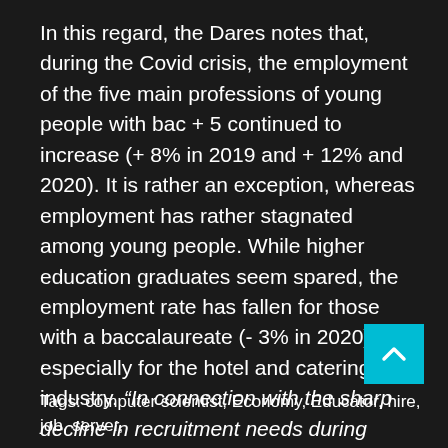In this regard, the Dares notes that, during the Covid crisis, the employment of the five main professions of young people with bac + 5 continued to increase (+ 8% in 2019 and + 12% and 2020). It is rather an exception, whereas employment has rather stagnated among young people. While higher education graduates seem spared, the employment rate has fallen for those with a baccalaureate (- 3% in 2020), especially for the hotel and catering industry. “In connection with the sharp decline in recruitment needs during confinement”, recognizes the Dares.
.
Tags: computer scientist, Economy, Educator, hire, job, server,